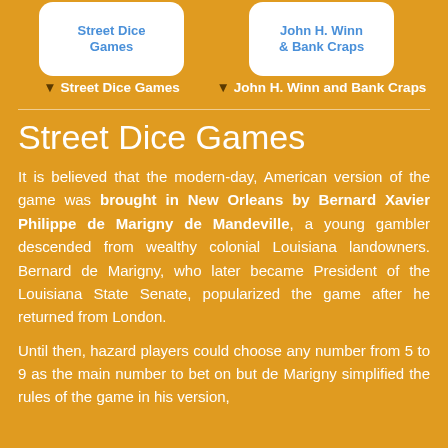[Figure (other): Two navigation card icons side by side: 'Street Dice Games' and 'John H. Winn and Bank Craps' with rounded white card backgrounds]
▼ Street Dice Games
▼ John H. Winn and Bank Craps
Street Dice Games
It is believed that the modern-day, American version of the game was brought in New Orleans by Bernard Xavier Philippe de Marigny de Mandeville, a young gambler descended from wealthy colonial Louisiana landowners. Bernard de Marigny, who later became President of the Louisiana State Senate, popularized the game after he returned from London.
Until then, hazard players could choose any number from 5 to 9 as the main number to bet on but de Marigny simplified the rules of the game in his version.